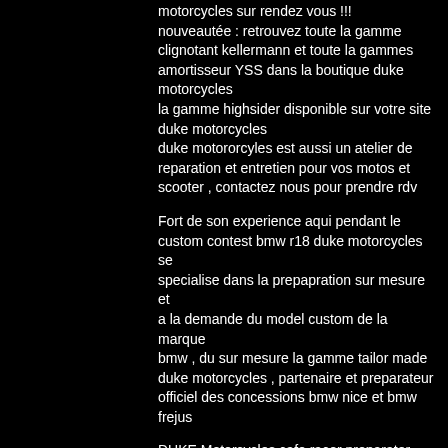motorcycles sur rendez vous !!! nouveautée : retrouvez toute la gamme clignotant kellermann et toute la gammes amortisseur YSS dans la boutique duke motorcycles
la gamme highsider disponible sur votre site duke motorcycles
duke motororcyles est aussi un atelier de reparation et entretien pour vos motos et scooter , contactez nous pour prendre rdv
Fort de son experience aqui pendant le custom contest bmw r18 duke motorcycles se specialise dans la prepapration sur mesure et a la demande du model custom de la marque bmw , du sur mesure la gamme tailor made duke motorcycles , partenaire et preparateur officiel des concessions bmw nice et bmw frejus
DUKE Motorcycles cafe racer preparator workshop bobber scrambler in nice monaco cannes antibes paris marseille lyon marseille, world, maintenance and preparation yamaha suzuki honda dax, monkey and msx